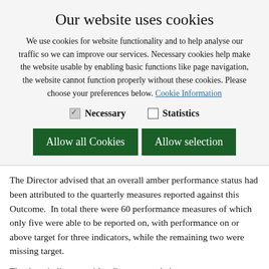Our website uses cookies
We use cookies for website functionality and to help analyse our traffic so we can improve our services. Necessary cookies help make the website usable by enabling basic functions like page navigation, the website cannot function properly without these cookies. Please choose your preferences below. Cookie Information
Necessary  Statistics
Allow all Cookies  Allow selection
The Director advised that an overall amber performance status had been attributed to the quarterly measures reported against this Outcome.  In total there were 60 performance measures of which only five were able to be reported on, with performance on or above target for three indicators, while the remaining two were missing target.
The three indicators with a Green status being:
The number of customers who were satisfied with access to